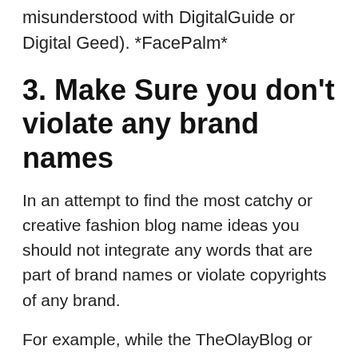misunderstood with DigitalGuide or Digital Geed). *FacePalm*
3. Make Sure you don't violate any brand names
In an attempt to find the most catchy or creative fashion blog name ideas you should not integrate any words that are part of brand names or violate copyrights of any brand.
For example, while the TheOlayBlog or TheBlueNiveaGirl.com can be attractive makeup blog name ideas, you shouldn't